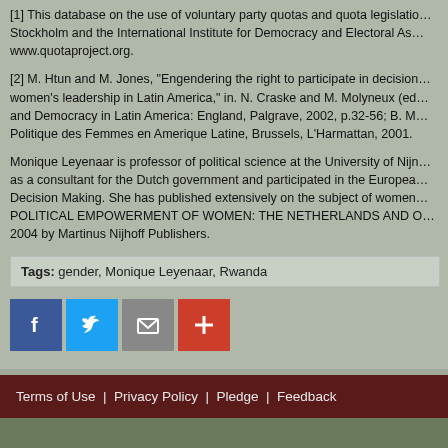[1] This database on the use of voluntary party quotas and quota legislation is maintained by International IDEA in Stockholm and the International Institute for Democracy and Electoral Assistance. It can be found at www.quotaproject.org.
[2] M. Htun and M. Jones, "Engendering the right to participate in decision-making: electoral quotas and women's leadership in Latin America," in. N. Craske and M. Molyneux (eds), Gender, Politics and Democracy in Latin America: England, Palgrave, 2002, p.32-56; B. M... Politique des Femmes en Amerique Latine, Brussels, L'Harmattan, 2001.
Monique Leyenaar is professor of political science at the University of Nijmegen. She has worked as a consultant for the Dutch government and participated in the European network Women in Decision Making. She has published extensively on the subject of women and politics, including POLITICAL EMPOWERMENT OF WOMEN: THE NETHERLANDS AND OTHER COUNTRIES, published in 2004 by Martinus Nijhoff Publishers.
Tags: gender, Monique Leyenaar, Rwanda
Terms of Use | Privacy Policy | Pledge | Feedback